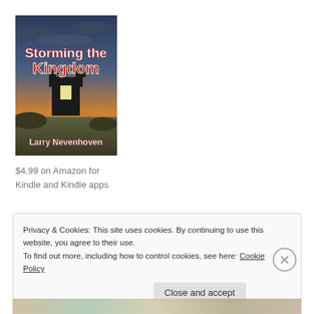[Figure (illustration): Book cover for 'Storming the Kingdom' by Larry Nevenhoven. Dark dramatic sky with castle ruins silhouetted against a bright sunset/sunrise. Bold white and red text for the title and white text for author name.]
$4.99 on Amazon for Kindle and Kindle apps
Privacy & Cookies: This site uses cookies. By continuing to use this website, you agree to their use.
To find out more, including how to control cookies, see here: Cookie Policy
Close and accept